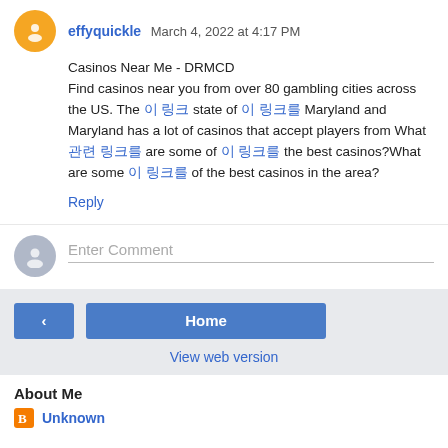effyquickle March 4, 2022 at 4:17 PM
Casinos Near Me - DRMCD
Find casinos near you from over 80 gambling cities across the US. The 이 링크 state of 이 링크를 Maryland and Maryland has a lot of casinos that accept players from What 관련 링크를 are some of 이 링크를 the best casinos?What are some 이 링크를 of the best casinos in the area?
Reply
Enter Comment
Home
View web version
About Me
Unknown